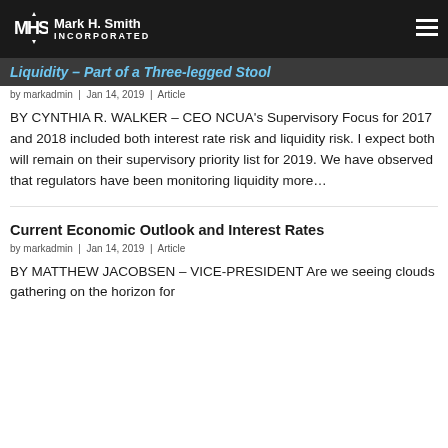Mark H. Smith INCORPORATED
Liquidity – Part of a Three-legged Stool
by markadmin | Jan 14, 2019 | Article
BY CYNTHIA R. WALKER – CEO NCUA's Supervisory Focus for 2017 and 2018 included both interest rate risk and liquidity risk. I expect both will remain on their supervisory priority list for 2019. We have observed that regulators have been monitoring liquidity more…
Current Economic Outlook and Interest Rates
by markadmin | Jan 14, 2019 | Article
BY MATTHEW JACOBSEN – VICE-PRESIDENT Are we seeing clouds gathering on the horizon for